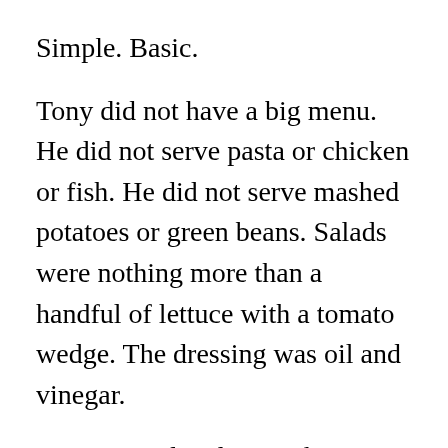Simple. Basic.
Tony did not have a big menu. He did not serve pasta or chicken or fish. He did not serve mashed potatoes or green beans. Salads were nothing more than a handful of lettuce with a tomato wedge. The dressing was oil and vinegar.
Tony specialized in steaks. He had three cuts of steak, but the one we ate was the New York Strip. Tony took the steak (each about 10 oz or more) and seared them on the grill. Each was served with a baked